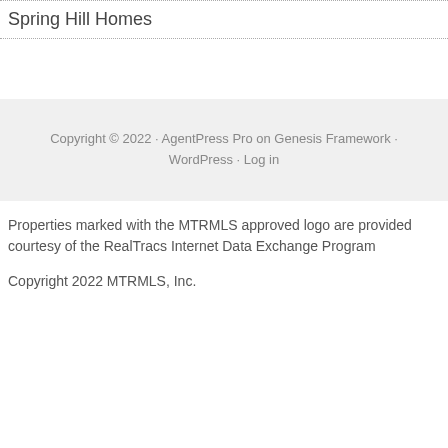Spring Hill Homes
Copyright © 2022 · AgentPress Pro on Genesis Framework · WordPress · Log in
Properties marked with the MTRMLS approved logo are provided courtesy of the RealTracs Internet Data Exchange Program
Copyright 2022 MTRMLS, Inc.